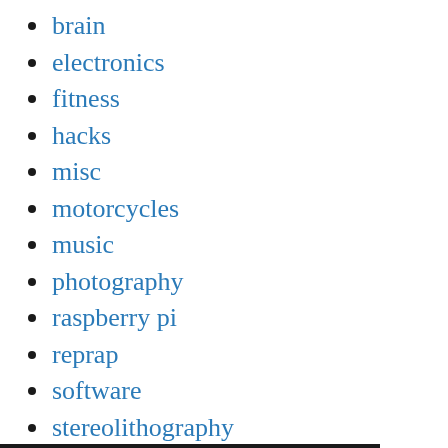brain
electronics
fitness
hacks
misc
motorcycles
music
photography
raspberry pi
reprap
software
stereolithography
Uncategorized
wordpress